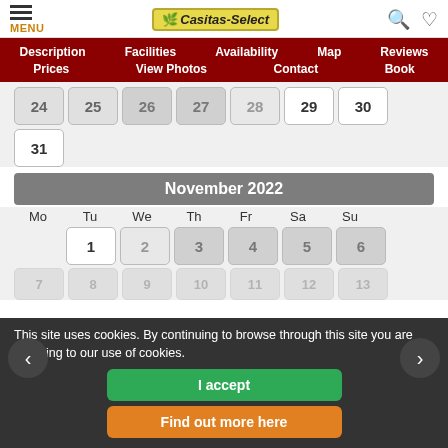MENU | Casitas-Select | [search] [heart]
Description  Facilities  Availability  Map  Reviews  Prices  View Photos  Contact  Book
| Mo | Tu | We | Th | Fr | Sa | Su |
| --- | --- | --- | --- | --- | --- | --- |
| 24 | 25 | 26 | 27 | 28 | 29 | 30 |
| 31 |  |  |  |  |  |  |
November 2022
| Mo | Tu | We | Th | Fr | Sa | Su |
| --- | --- | --- | --- | --- | --- | --- |
|  | 1 | 2 | 3 | 4 | 5 | 6 |
| 7 | 8 | 9 | 10 | 11 | 12 | 13 |
| 14 | 15 | 16 | 17 | 18 | 19 | 20 |
| 21 |  |  |  |  |  | 27 |
| 28 |  |  |  |  |  |  |
This site uses cookies. By continuing to browse through this site you are agreeing to our use of cookies.
I accept
Find out more here